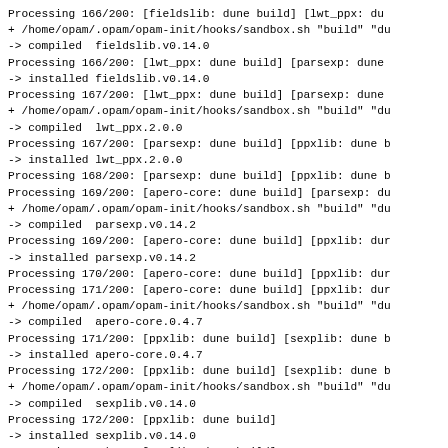Processing 166/200: [fieldslib: dune build] [lwt_ppx: du
+ /home/opam/.opam/opam-init/hooks/sandbox.sh "build" "du
-> compiled  fieldslib.v0.14.0
Processing 166/200: [lwt_ppx: dune build] [parsexp: dune
-> installed fieldslib.v0.14.0
Processing 167/200: [lwt_ppx: dune build] [parsexp: dune
+ /home/opam/.opam/opam-init/hooks/sandbox.sh "build" "du
-> compiled  lwt_ppx.2.0.0
Processing 167/200: [parsexp: dune build] [ppxlib: dune b
-> installed lwt_ppx.2.0.0
Processing 168/200: [parsexp: dune build] [ppxlib: dune b
Processing 169/200: [apero-core: dune build] [parsexp: du
+ /home/opam/.opam/opam-init/hooks/sandbox.sh "build" "du
-> compiled  parsexp.v0.14.2
Processing 169/200: [apero-core: dune build] [ppxlib: dur
-> installed parsexp.v0.14.2
Processing 170/200: [apero-core: dune build] [ppxlib: dur
Processing 171/200: [apero-core: dune build] [ppxlib: dur
+ /home/opam/.opam/opam-init/hooks/sandbox.sh "build" "du
-> compiled  apero-core.0.4.7
Processing 171/200: [ppxlib: dune build] [sexplib: dune b
-> installed apero-core.0.4.7
Processing 172/200: [ppxlib: dune build] [sexplib: dune b
+ /home/opam/.opam/opam-init/hooks/sandbox.sh "build" "du
-> compiled  sexplib.v0.14.0
Processing 172/200: [ppxlib: dune build]
-> installed sexplib.v0.14.0
Processing 173/200: [ppxlib: dune build]
+ /home/opam/.opam/opam-init/hooks/sandbox.sh "build" "du
-> compiled  ppxlib.0.15.0